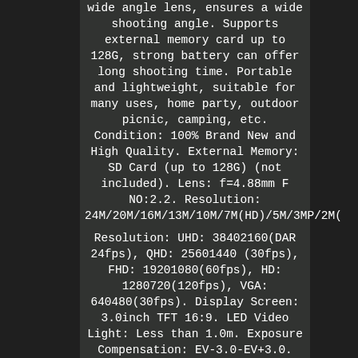wide angle lens, ensures a wide shooting angle. Supports external memory card up to 128G, strong battery can offer long shooting time. Portable and lightweight, suitable for many uses, home party, outdoor picnic, camping, etc. Condition: 100% Brand New and High Quality. External Memory: SD Card (up to 128G) (not included). Lens: f=4.88mm F NO:2.2. Resolution: 24M/20M/16M/13M/10M/7M(HD)/5M/3MP/2M(
Resolution: UHD: 38402160(DAR 24fps), QHD: 25601440 (30fps), FHD: 19201080(60fps), HD: 1280720(120fps), VGA: 640480(30fps). Display Screen: 3.0inch TFT 16:9. LED Video Light: Less than 1.0m. Exposure Compensation: EV-3.0-EV+3.0.